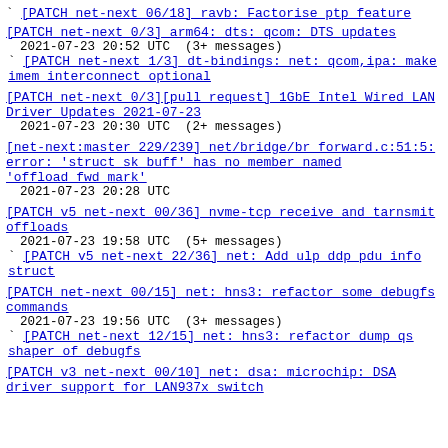` [PATCH net-next 06/18] ravb: Factorise ptp feature
[PATCH net-next 0/3] arm64: dts: qcom: DTS updates
 2021-07-23 20:52 UTC  (3+ messages)
` [PATCH net-next 1/3] dt-bindings: net: qcom,ipa: make imem interconnect optional
[PATCH net-next 0/3][pull request] 1GbE Intel Wired LAN Driver Updates 2021-07-23
 2021-07-23 20:30 UTC  (2+ messages)
[net-next:master 229/239] net/bridge/br_forward.c:51:5: error: 'struct sk_buff' has no member named 'offload_fwd_mark'
 2021-07-23 20:28 UTC
[PATCH v5 net-next 00/36] nvme-tcp receive and tarnsmit offloads
 2021-07-23 19:58 UTC  (5+ messages)
` [PATCH v5 net-next 22/36] net: Add ulp ddp pdu info struct
[PATCH net-next 00/15] net: hns3: refactor some debugfs commands
 2021-07-23 19:56 UTC  (3+ messages)
` [PATCH net-next 12/15] net: hns3: refactor dump qs shaper of debugfs
[PATCH v3 net-next 00/10] net: dsa: microchip: DSA driver support for LAN937x switch